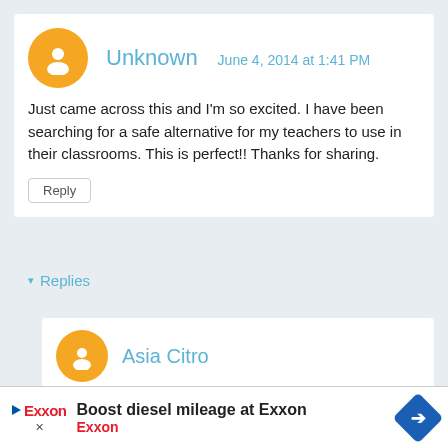Unknown   June 4, 2014 at 1:41 PM
Just came across this and I'm so excited. I have been searching for a safe alternative for my teachers to use in their classrooms. This is perfect!! Thanks for sharing.
Reply
▾ Replies
Asia Citro
June 4, 2014 at 3:31 PM
Hoora
y! So glad I could help, Lisa! :)
:) :)
Boost diesel mileage at Exxon
Exxon